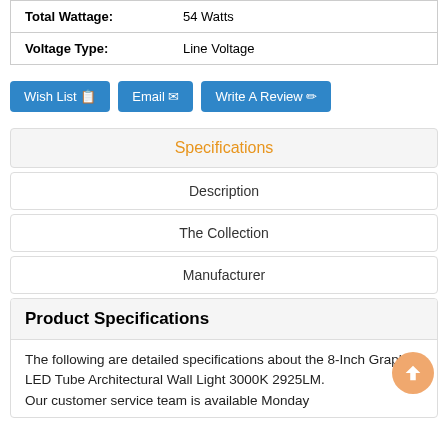|  |  |
| --- | --- |
| Total Wattage: | 54 Watts |
| Voltage Type: | Line Voltage |
Wish List | Email | Write A Review
Specifications
Description
The Collection
Manufacturer
Product Specifications
The following are detailed specifications about the 8-Inch Graphite LED Tube Architectural Wall Light 3000K 2925LM.
Our customer service team is available Monday